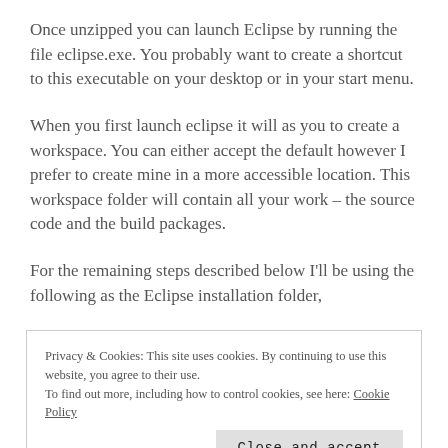Once unzipped you can launch Eclipse by running the file eclipse.exe. You probably want to create a shortcut to this executable on your desktop or in your start menu.
When you first launch eclipse it will as you to create a workspace. You can either accept the default however I prefer to create mine in a more accessible location. This workspace folder will contain all your work – the source code and the build packages.
For the remaining steps described below I'll be using the following as the Eclipse installation folder,
Privacy & Cookies: This site uses cookies. By continuing to use this website, you agree to their use.
To find out more, including how to control cookies, see here: Cookie Policy
Close and accept
Install the Eclipse Plugins for Web Application